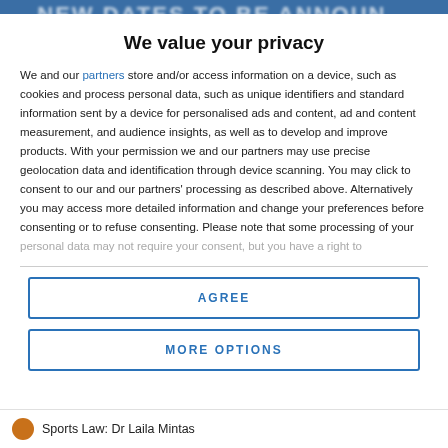[Figure (screenshot): Blurred blue banner at the top of the page with white text partially visible]
We value your privacy
We and our partners store and/or access information on a device, such as cookies and process personal data, such as unique identifiers and standard information sent by a device for personalised ads and content, ad and content measurement, and audience insights, as well as to develop and improve products. With your permission we and our partners may use precise geolocation data and identification through device scanning. You may click to consent to our and our partners' processing as described above. Alternatively you may access more detailed information and change your preferences before consenting or to refuse consenting. Please note that some processing of your personal data may not require your consent, but you have a right to
AGREE
MORE OPTIONS
Sports Law: Dr Laila Mintas